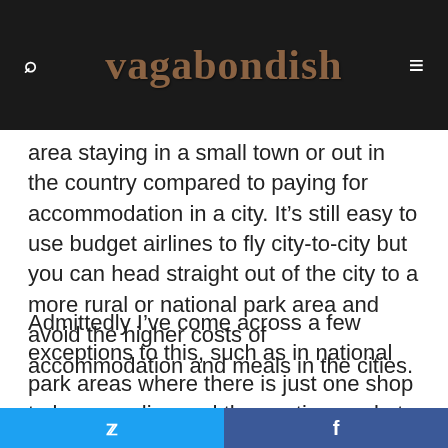vagabondish
area staying in a small town or out in the country compared to paying for accommodation in a city. It’s still easy to use budget airlines to fly city-to-city but you can head straight out of the city to a more rural or national park area and avoid the higher costs of accommodation and meals in the cities.
Admittedly I’ve come across a few exceptions to this, such as in national park areas where there is just one shop to buy supplies and the captive market nature of it makes it pricier
Twitter share | Facebook share